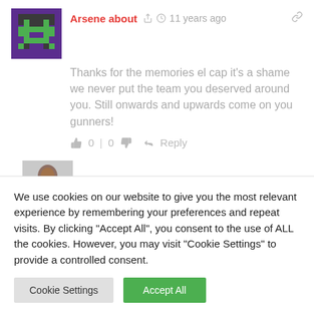Arsene about · 11 years ago
Thanks for the memories el cap it's a shame we never put the team you deserved around you. Still onwards and upwards come on you gunners!
0 | 0  Reply
We use cookies on our website to give you the most relevant experience by remembering your preferences and repeat visits. By clicking "Accept All", you consent to the use of ALL the cookies. However, you may visit "Cookie Settings" to provide a controlled consent.
Cookie Settings | Accept All